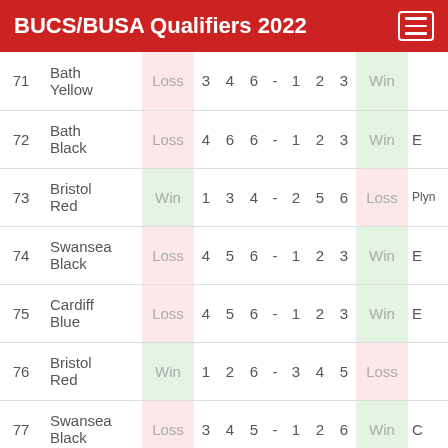BUCS/BUSA Qualifiers 2022
| # | Team | Result |  |  |  |  |  |  |  | Result2 |  |
| --- | --- | --- | --- | --- | --- | --- | --- | --- | --- | --- | --- |
| 71 | Bath Yellow | Loss | 3 | 4 | 6 | - | 1 | 2 | 3 | Win |  |
| 72 | Bath Black | Loss | 4 | 6 | 6 | - | 1 | 2 | 3 | Win | E |
| 73 | Bristol Red | Win | 1 | 3 | 4 | - | 2 | 5 | 6 | Loss | Plyn |
| 74 | Swansea Black | Loss | 4 | 5 | 6 | - | 1 | 2 | 3 | Win | E |
| 75 | Cardiff Blue | Loss | 4 | 5 | 6 | - | 1 | 2 | 3 | Win | E |
| 76 | Bristol Red | Win | 1 | 2 | 6 | - | 3 | 4 | 5 | Loss |  |
| 77 | Swansea Black | Loss | 3 | 4 | 5 | - | 1 | 2 | 6 | Win | C |
| 78 | Cardiff Blue | Loss | 4 | 5 | 6 | - | 1 | 2 | 3 | Win | E |